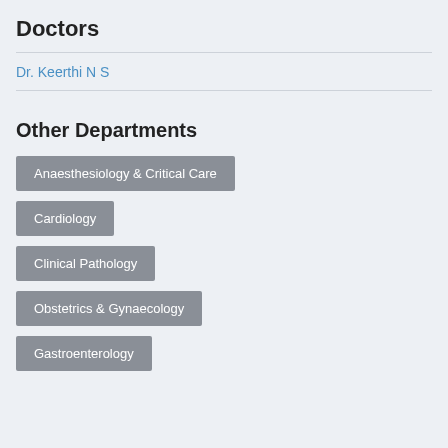Doctors
Dr. Keerthi N S
Other Departments
Anaesthesiology & Critical Care
Cardiology
Clinical Pathology
Obstetrics & Gynaecology
Gastroenterology